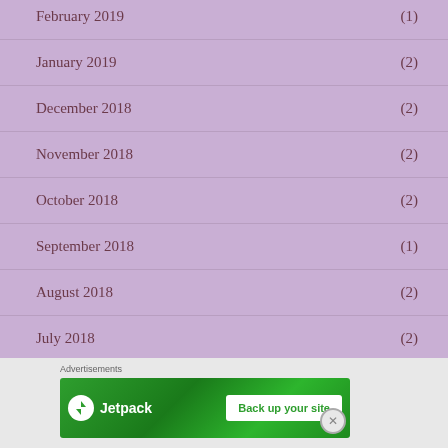February 2019 (1)
January 2019 (2)
December 2018 (2)
November 2018 (2)
October 2018 (2)
September 2018 (1)
August 2018 (2)
July 2018 (2)
June 2018 (2)
[Figure (other): Jetpack advertisement banner with 'Back up your site' button]